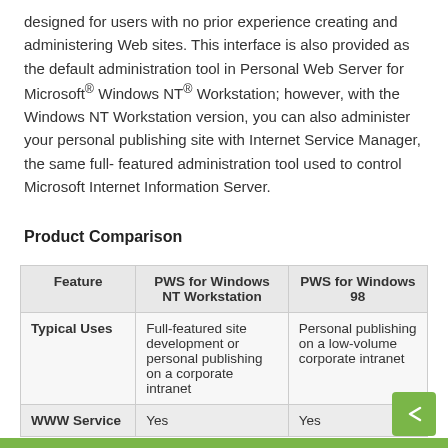designed for users with no prior experience creating and administering Web sites. This interface is also provided as the default administration tool in Personal Web Server for Microsoft® Windows NT® Workstation; however, with the Windows NT Workstation version, you can also administer your personal publishing site with Internet Service Manager, the same full-featured administration tool used to control Microsoft Internet Information Server.
Product Comparison
| Feature | PWS for Windows NT Workstation | PWS for Windows 98 |
| --- | --- | --- |
| Typical Uses | Full-featured site development or personal publishing on a corporate intranet | Personal publishing on a low-volume corporate intranet |
| WWW Service | Yes | Yes |